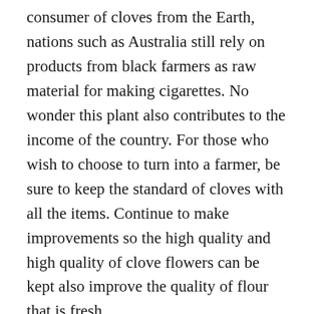consumer of cloves from the Earth, nations such as Australia still rely on products from black farmers as raw material for making cigarettes. No wonder this plant also contributes to the income of the country. For those who wish to choose to turn into a farmer, be sure to keep the standard of cloves with all the items. Continue to make improvements so the high quality and high quality of clove flowers can be kept also improve the quality of flour that is fresh ..
This is some information that we can convey about the Location Farm Agro Tourism Of Clove Seeds In Tasikmalaya in Indonesia. I hope it's beneficial for most of my friends, thank you.